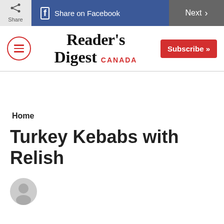Share | Share on Facebook | Next
[Figure (logo): Reader's Digest Canada logo with menu icon and Subscribe button]
Home
Turkey Kebabs with Relish
[Figure (illustration): Generic user/author avatar icon (grey silhouette)]